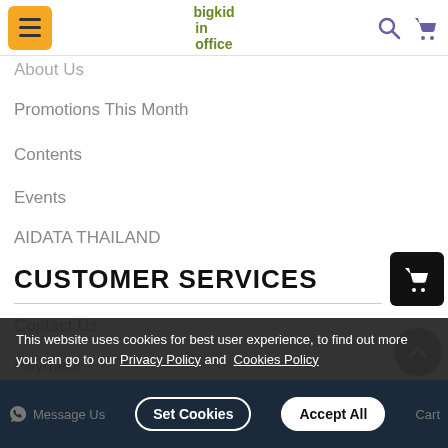bigkid in office
About Us
Promotions This Month
Contents
Events
AIDATA THAILAND
CUSTOMER SERVICES
Contact Us
Payment
Delivery
Return Policy
This website uses cookies for best user experience, to find out more you can go to our Privacy Policy and Cookies Policy
Set Cookies   Accept All
Message Us  Cart